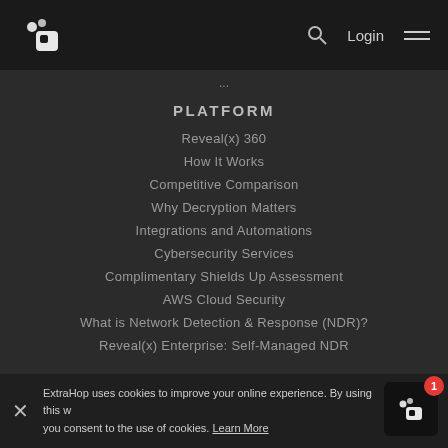ExtraHop navigation bar with logo, search, Login, and hamburger menu
...
PLATFORM
Reveal(x) 360
How It Works
Competitive Comparison
Why Decryption Matters
Integrations and Automations
Cybersecurity Services
Complimentary Shields Up Assessment
AWS Cloud Security
What is Network Detection & Response (NDR)?
Reveal(x) Enterprise: Self-Managed NDR
SOLUTIONS
Security
ExtraHop uses cookies to improve your online experience. By using this w... you consent to the use of cookies. Learn More